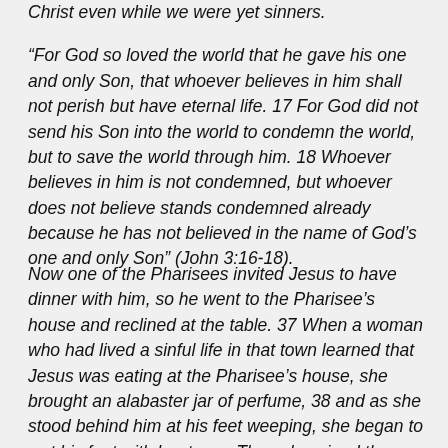Christ even while we were yet sinners.
“For God so loved the world that he gave his one and only Son, that whoever believes in him shall not perish but have eternal life. 17 For God did not send his Son into the world to condemn the world, but to save the world through him. 18 Whoever believes in him is not condemned, but whoever does not believe stands condemned already because he has not believed in the name of God’s one and only Son” (John 3:16-18).
Now one of the Pharisees invited Jesus to have dinner with him, so he went to the Pharisee’s house and reclined at the table. 37 When a woman who had lived a sinful life in that town learned that Jesus was eating at the Pharisee’s house, she brought an alabaster jar of perfume, 38 and as she stood behind him at his feet weeping, she began to wet his feet with her tears. Then she wiped them with her hair, kissed them, and poured perfume on them.